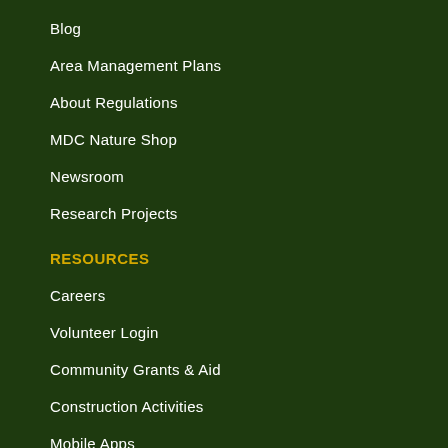Blog
Area Management Plans
About Regulations
MDC Nature Shop
Newsroom
Research Projects
RESOURCES
Careers
Volunteer Login
Community Grants & Aid
Construction Activities
Mobile Apps